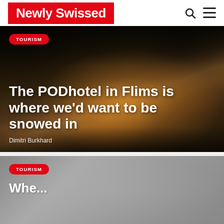Newly Swissed
[Figure (photo): Night/dark snowy outdoor scene showing illuminated pod hotel structures with arched wooden entrances at Flims, with warm golden light glowing from the pods against a dark winter forest background]
The PODhotel in Flims is where we'd want to be snowed in
Dimitri Burkhard
[Figure (photo): Partial second article card with grey/muted background, partially visible at bottom of page]